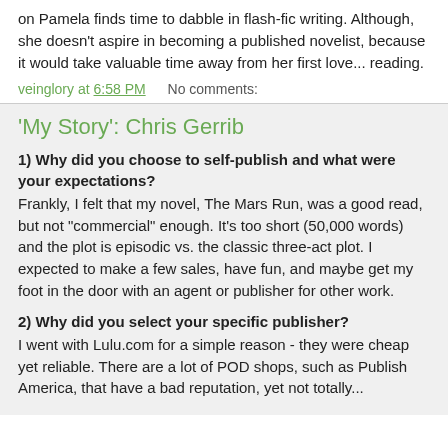on Pamela finds time to dabble in flash-fic writing. Although, she doesn't aspire in becoming a published novelist, because it would take valuable time away from her first love... reading.
veinglory at 6:58 PM    No comments:
'My Story': Chris Gerrib
1) Why did you choose to self-publish and what were your expectations?
Frankly, I felt that my novel, The Mars Run, was a good read, but not "commercial" enough. It's too short (50,000 words) and the plot is episodic vs. the classic three-act plot. I expected to make a few sales, have fun, and maybe get my foot in the door with an agent or publisher for other work.
2) Why did you select your specific publisher?
I went with Lulu.com for a simple reason - they were cheap yet reliable. There are a lot of POD shops, such as Publish America, that have a bad reputation, yet not totally...